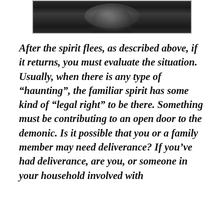[Figure (photo): A black and white photograph partially visible at the top of the page, showing what appears to be figures in an outdoor/nature setting]
After the spirit flees, as described above, if it returns, you must evaluate the situation. Usually, when there is any type of "haunting", the familiar spirit has some kind of "legal right" to be there. Something must be contributing to an open door to the demonic. Is it possible that you or a family member may need deliverance? If you've had deliverance, are you, or someone in your household involved with